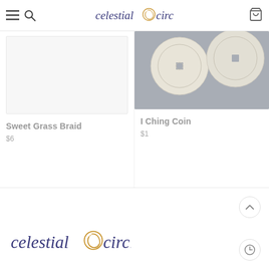celestialcircle – navigation header with menu, search, logo, and cart icons
[Figure (photo): White/empty product image placeholder for Sweet Grass Braid]
Sweet Grass Braid
$6
[Figure (photo): Photo of I Ching coins on a grey background]
I Ching Coin
$1
celestialcircle logo in footer with back-to-top and history buttons